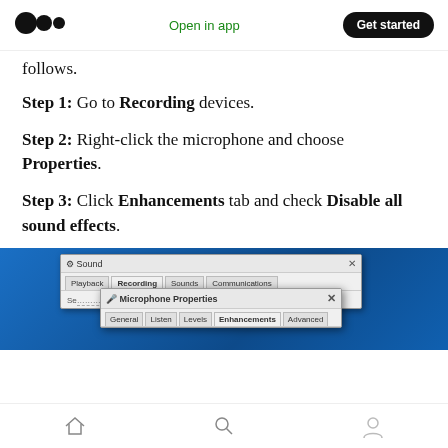Open in app | Get started
follows.
Step 1: Go to Recording devices.
Step 2: Right-click the microphone and choose Properties.
Step 3: Click Enhancements tab and check Disable all sound effects.
[Figure (screenshot): Windows Sound dialog showing Recording tab with Microphone Properties dialog open, showing General, Listen, Levels, Enhancements, Advanced tabs]
Navigation bar with home, search, and profile icons